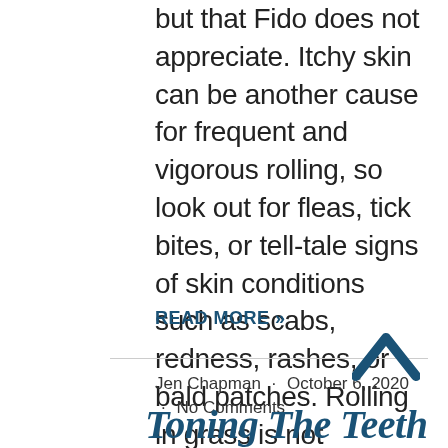but that Fido does not appreciate. Itchy skin can be another cause for frequent and vigorous rolling, so look out for fleas, tick bites, or tell-tale signs of skin conditions such as scabs, redness, rashes, or bald patches. Rolling in grass is not dangerous in itself. Just be sure your dog has
READ MORE »
Jen Chapman · October 6, 2020 · No Comments
Toning The Teeth